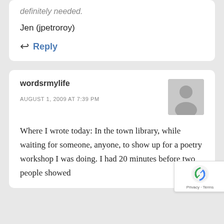definitely needed.
Jen (jpetroroy)
↩ Reply
wordsrmylife
AUGUST 1, 2009 AT 7:39 PM
Where I wrote today: In the town library, while waiting for someone, anyone, to show up for a poetry workshop I was doing. I had 20 minutes before two people showed